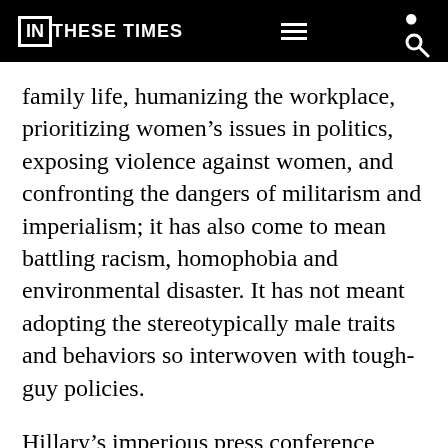IN THESE TIMES
family life, humanizing the workplace, prioritizing women’s issues in politics, exposing violence against women, and confronting the dangers of militarism and imperialism; it has also come to mean battling racism, homophobia and environmental disaster. It has not meant adopting the stereotypically male traits and behaviors so interwoven with tough-guy policies.
Hillary’s imperious press conference performance brought back memories. She voted for the Iraq War, voted to label Iran’s Revolutionary Guard Corps a terrorist organization (which Joe Biden and other Democrats voted against), and criticized Obama for not being tough enough with Syria. When she was